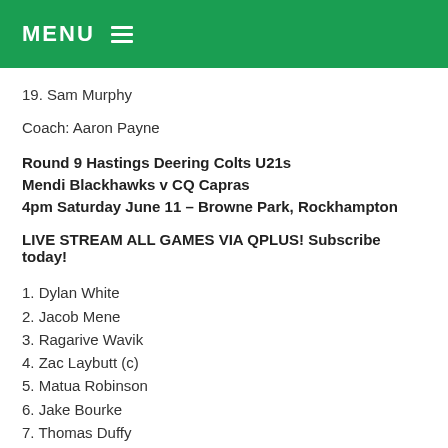MENU ≡
19. Sam Murphy
Coach: Aaron Payne
Round 9 Hastings Deering Colts U21s
Mendi Blackhawks v CQ Capras
4pm Saturday June 11 – Browne Park, Rockhampton
LIVE STREAM ALL GAMES VIA QPLUS! Subscribe today!
1. Dylan White
2. Jacob Mene
3. Ragarive Wavik
4. Zac Laybutt (c)
5. Matua Robinson
6. Jake Bourke
7. Thomas Duffy
8. Mia Pua'avase
9. Jai Hansen